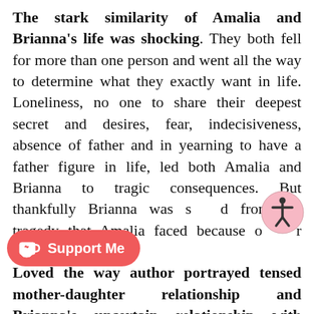The stark similarity of Amalia and Brianna's life was shocking. They both fell for more than one person and went all the way to determine what they exactly want in life. Loneliness, no one to share their deepest secret and desires, fear, indecisiveness, absence of father and in yearning to have a father figure in life, led both Amalia and Brianna to tragic consequences. But thankfully Brianna was saved from the tragedy that Amalia faced because of her mother. Loved the way author portrayed tensed mother-daughter relationship and Brianna's uncertain relationship with Shannel. Loved the message from the book on- being yourself, blood you are, leaving the past in past by embracing the chance of future and move on in life. Belong and brave were added best friends of both